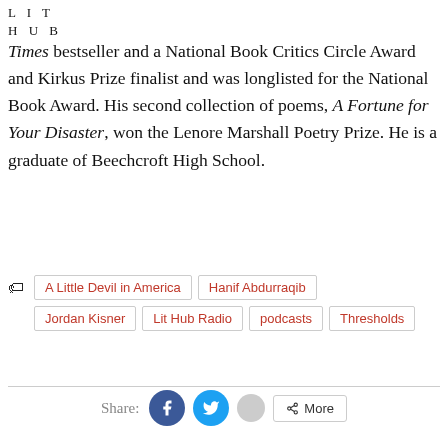LIT HUB
Times bestseller and a National Book Critics Circle Award and Kirkus Prize finalist and was longlisted for the National Book Award. His second collection of poems, A Fortune for Your Disaster, won the Lenore Marshall Poetry Prize. He is a graduate of Beechcroft High School.
A Little Devil in America
Hanif Abdurraqib
Jordan Kisner
Lit Hub Radio
podcasts
Thresholds